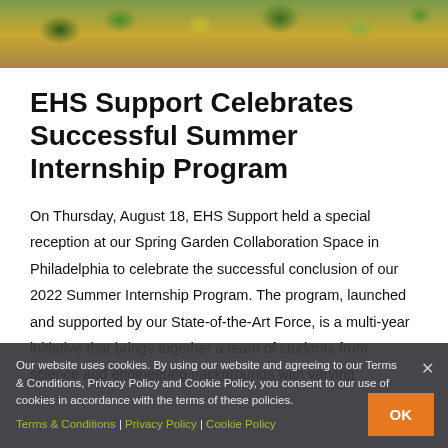[Figure (photo): Garden/plant photo strip showing flowers and foliage in a raised planter bed]
EHS Support Celebrates Successful Summer Internship Program
On Thursday, August 18, EHS Support held a special reception at our Spring Garden Collaboration Space in Philadelphia to celebrate the successful conclusion of our 2022 Summer Internship Program. The program, launched and supported by our State-of-the-Art Force, is a multi-year initiative that brings together a team of students from science and engineering backgrounds with varying
Our website uses cookies. By using our website and agreeing to our Terms & Conditions, Privacy Policy and Cookie Policy, you consent to our use of cookies in accordance with the terms of these policies. Terms & Conditions | Privacy Policy | Cookie Policy